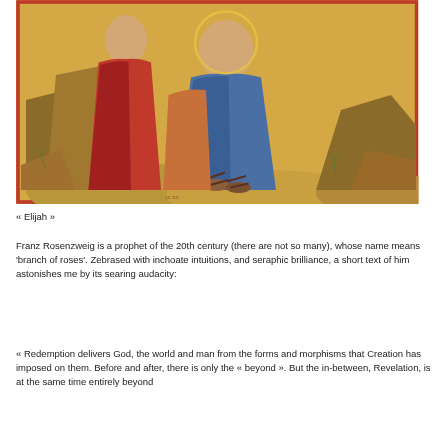[Figure (illustration): A religious icon painting depicting figures in blue and red robes, Byzantine style, possibly showing Elijah or a biblical scene with rocky landscape and golden background.]
« Elijah »
Franz Rosenzweig is a prophet of the 20th century (there are not so many), whose name means 'branch of roses'. Zebrased with inchoate intuitions, and seraphic brilliance, a short text of him astonishes me by its searing audacity:
« Redemption delivers God, the world and man from the forms and morphisms that Creation has imposed on them. Before and after, there is only the « beyond ». But the in-between, Revelation, is at the same time entirely beyond